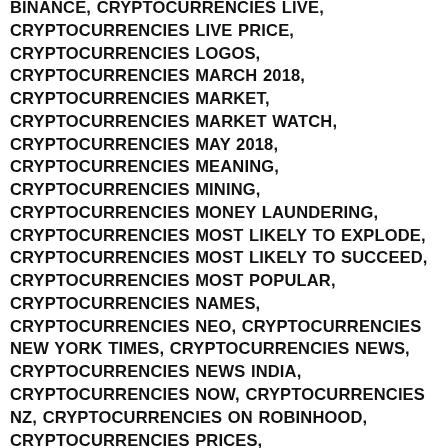BINANCE, CRYPTOCURRENCIES LIVE, CRYPTOCURRENCIES LIVE PRICE, CRYPTOCURRENCIES LOGOS, CRYPTOCURRENCIES MARCH 2018, CRYPTOCURRENCIES MARKET, CRYPTOCURRENCIES MARKET WATCH, CRYPTOCURRENCIES MAY 2018, CRYPTOCURRENCIES MEANING, CRYPTOCURRENCIES MINING, CRYPTOCURRENCIES MONEY LAUNDERING, CRYPTOCURRENCIES MOST LIKELY TO EXPLODE, CRYPTOCURRENCIES MOST LIKELY TO SUCCEED, CRYPTOCURRENCIES MOST POPULAR, CRYPTOCURRENCIES NAMES, CRYPTOCURRENCIES NEO, CRYPTOCURRENCIES NEW YORK TIMES, CRYPTOCURRENCIES NEWS, CRYPTOCURRENCIES NEWS INDIA, CRYPTOCURRENCIES NOW, CRYPTOCURRENCIES NZ, CRYPTOCURRENCIES ON ROBINHOOD, CRYPTOCURRENCIES PRICES, CRYPTOCURRENCIES REDDIT, CRYPTOCURRENCIES TO BUY, CRYPTOCURRENCIES TO WATCH, CRYPTOCURRENCY DECLINE, CRYPTOCURRENCY NEWS REDDIT, CURRENCIES, EQUITIES, FX, I LOVE CRYPTOCURRENCIES, INVESTING, INVESTMENT, KNOWN CRYPTOCURRENCIES, KRAKEN CRYPTOCURRENCIES LIST, MARKET, MARKETS, MONEY, NEWS, NYSE, PERSONAL FINANCE, POLITICS, SAVINGS, STOCK MARKET, STOCKS, YAHOO FINANCE, YAHOO FINANCE PREMIUM